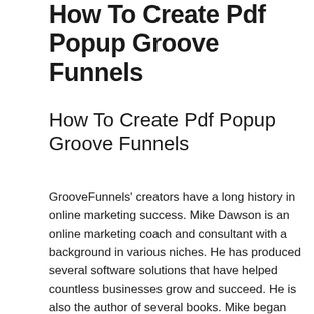How To Create Pdf Popup Groove Funnels
How To Create Pdf Popup Groove Funnels
GrooveFunnels’ creators have a long history in online marketing success. Mike Dawson is an online marketing coach and consultant with a background in various niches. He has produced several software solutions that have helped countless businesses grow and succeed. He is also the author of several books. Mike began his online marketing career with Kartra and WebinarJam. He then decided to create his own product. His years of experience have resulted in this product